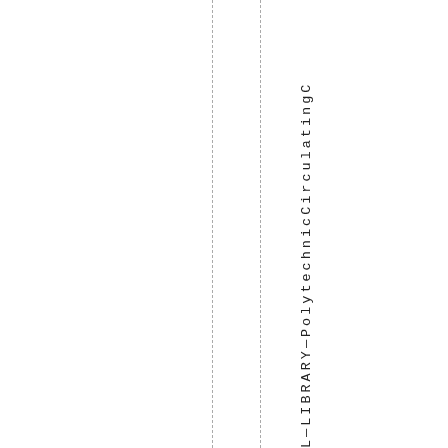LIBRARY_PolytechnicCirculatingC